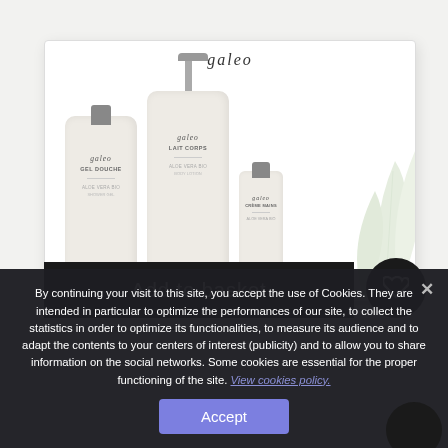[Figure (photo): Galeo cosmetics gift set in white box containing Gel Douche, Lait Corps, and Crème Mains products with aloe vera, with 'Add to basket' black bar and heart/wishlist button overlay]
By continuing your visit to this site, you accept the use of Cookies. They are intended in particular to optimize the performances of our site, to collect the statistics in order to optimize its functionalities, to measure its audience and to adapt the contents to your centers of interest (publicity) and to allow you to share information on the social networks. Some cookies are essential for the proper functioning of the site. View cookies policy.
Accept